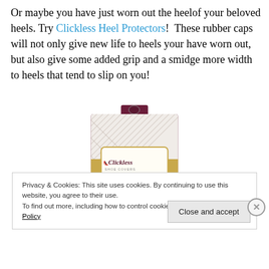Or maybe you have just worn out the heelof your beloved heels. Try Clickless Heel Protectors!  These rubber caps will not only give new life to heels your have worn out, but also give some added grip and a smidge more width to heels that tend to slip on you!
[Figure (photo): Product packaging for Clickless High Heel Protectors showing a box with a diamond pattern design in maroon and gold with the Clickless logo featuring a red high heel shoe]
Privacy & Cookies: This site uses cookies. By continuing to use this website, you agree to their use.
To find out more, including how to control cookies, see here: Cookie Policy